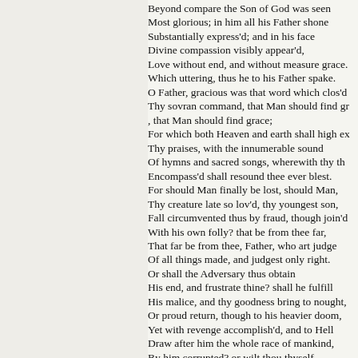Beyond compare the Son of God was seen
Most glorious; in him all his Father shone
Substantially express'd; and in his face
Divine compassion visibly appear'd,
Love without end, and without measure grace.
Which uttering, thus he to his Father spake.
O Father, gracious was that word which clos'd
Thy sovran command, that Man should find gr
, that Man should find grace;
For which both Heaven and earth shall high ex
Thy praises, with the innumerable sound
Of hymns and sacred songs, wherewith thy th
Encompass'd shall resound thee ever blest.
For should Man finally be lost, should Man,
Thy creature late so lov'd, thy youngest son,
Fall circumvented thus by fraud, though join'd
With his own folly? that be from thee far,
That far be from thee, Father, who art judge
Of all things made, and judgest only right.
Or shall the Adversary thus obtain
His end, and frustrate thine? shall he fulfill
His malice, and thy goodness bring to nought,
Or proud return, though to his heavier doom,
Yet with revenge accomplish'd, and to Hell
Draw after him the whole race of mankind,
By him corrupted? or wilt thou thyself
Abolish thy creation, and unmake
For him, what for thy glory thou hast made?
So should thy goodness and thy greatness bo
Be question'd and blasphem'd without defence